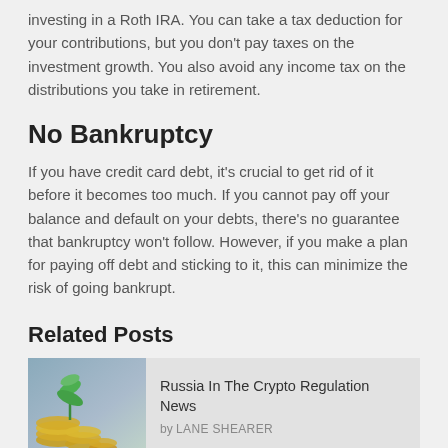investing in a Roth IRA. You can take a tax deduction for your contributions, but you don't pay taxes on the investment growth. You also avoid any income tax on the distributions you take in retirement.
No Bankruptcy
If you have credit card debt, it's crucial to get rid of it before it becomes too much. If you cannot pay off your balance and default on your debts, there's no guarantee that bankruptcy won't follow. However, if you make a plan for paying off debt and sticking to it, this can minimize the risk of going bankrupt.
Related Posts
Russia In The Crypto Regulation News
by LANE SHEARER
Where's the Most Convenient Place to Get a Renewal Sticker in Chicago?